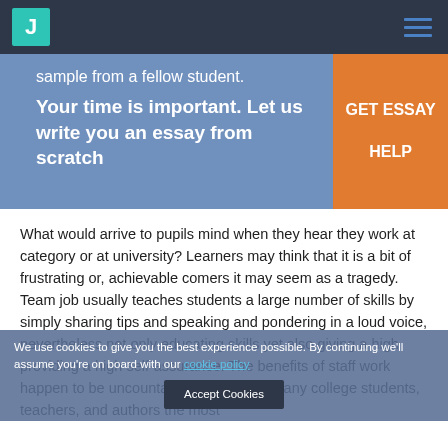J [logo] [hamburger menu]
sample from a fellow student.
Your time is important. Let us write you an essay from scratch
GET ESSAY HELP
What would arrive to pupils mind when they hear they work at category or at university? Learners may think that it is a bit of frustrating or, achievable comers it may seem as a tragedy. Team job usually teaches students a large number of skills by simply sharing tips and speaking and pondering in a loud voice, nevertheless not only educating skills yet also giving a high providing a high self-assurance. The benefits of staff work happen to be uncountable, but also for many college students, teachers, and authors the most
We use cookies to give you the best experience possible. By continuing we'll assume you're on board with our cookie policy